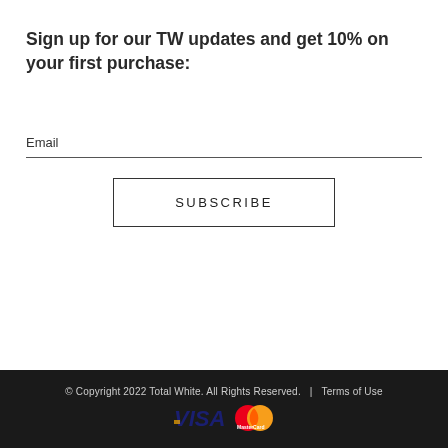Sign up for our TW updates and get 10% on your first purchase:
Email
SUBSCRIBE
© Copyright 2022 Total White. All Rights Reserved.  |  Terms of Use